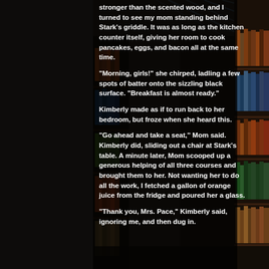[Figure (photo): Library interior with bookshelves and glass ceiling, dark background]
stronger than the scented wood, and I turned to see my mom standing behind Stark's griddle.  It was as long as the kitchen counter itself, giving her room to cook pancakes, eggs, and bacon all at the same time.
"Morning, girls!" she chirped, ladling a few spots of batter onto the sizzling black surface.  "Breakfast is almost ready."
Kimberly made as if to run back to her bedroom, but froze when she heard this.
"Go ahead and take a seat," Mom said.  Kimberly did, sliding out a chair at Stark's table.  A minute later, Mom scooped up a generous helping of all three courses and brought them to her.  Not wanting her to do all the work, I fetched a gallon of orange juice from the fridge and poured her a glass.
"Thank you, Mrs.  Pace," Kimberly said, ignoring me, and then dug in.